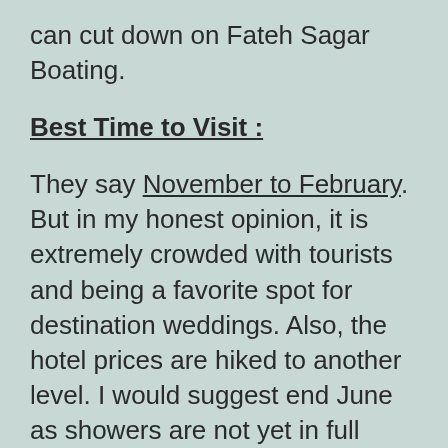can cut down on Fateh Sagar Boating.
Best Time to Visit :
They say November to February. But in my honest opinion, it is extremely crowded with tourists and being a favorite spot for destination weddings. Also, the hotel prices are hiked to another level.
I would suggest end June as showers are not yet in full fledge and being an off season, the weather is absolutely breezy in the evening. Plus you get luxury and less crowds. You just have to bare 2-3 hours of afternoon heat which